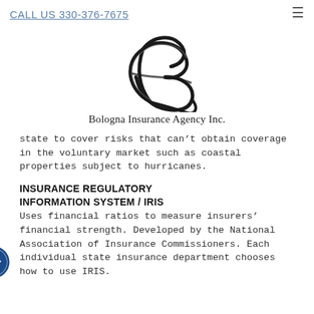CALL US 330-376-7675
[Figure (logo): Bologna Insurance Agency Inc. logo — stylized cursive B emblem above agency name]
state to cover risks that can’t obtain coverage in the voluntary market such as coastal properties subject to hurricanes.
INSURANCE REGULATORY INFORMATION SYSTEM / IRIS
Uses financial ratios to measure insurers’ financial strength. Developed by the National Association of Insurance Commissioners. Each individual state insurance department chooses how to use IRIS.